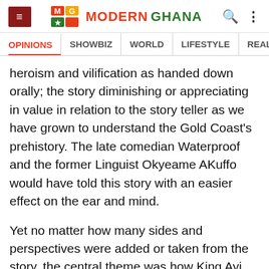Modern Ghana — OPINIONS | SHOWBIZ | WORLD | LIFESTYLE | REAL ESTATE | MEDIA
heroism and vilification as handed down orally; the story diminishing or appreciating in value in relation to the story teller as we have grown to understand the Gold Coast's prehistory. The late comedian Waterproof and the former Linguist Okyeame AKuffo would have told this story with an easier effect on the ear and mind.
Yet no matter how many sides and perspectives were added or taken from the story, the central theme was how King Ayi handled the royal stool just before and aftermath of the war.